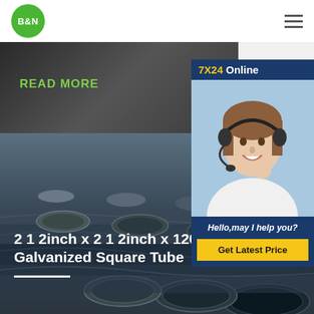[Figure (logo): B&N company logo - green circle with white bold B&N text]
[Figure (photo): Hamburger menu icon with three horizontal lines]
[Figure (photo): Dark banner image of steel pipes or industrial material with READ MORE green text]
[Figure (photo): 7X24 Online chat widget with photo of smiling woman wearing headset]
Hello,may I help you?
Get Latest Price
[Figure (photo): Large photo of multiple galvanized steel spiral-welded pipes stacked together]
2 1 2inch x 2 1 2inch x 120 Galvanized Square Tube